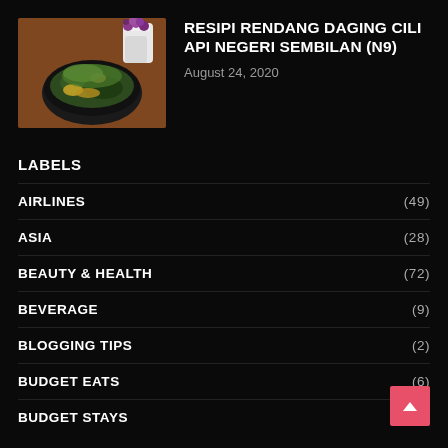[Figure (photo): Thumbnail photo of a dish in a dark bowl with garnish and a white vase of small purple flowers in the background]
RESIPI RENDANG DAGING CILI API NEGERI SEMBILAN (N9)
August 24, 2020
LABELS
AIRLINES (49)
ASIA (28)
BEAUTY & HEALTH (72)
BEVERAGE (9)
BLOGGING TIPS (2)
BUDGET EATS (6)
BUDGET STAYS (1)